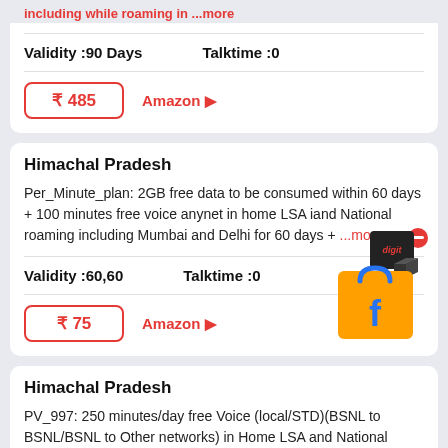including while roaming in ...more
Validity :90 Days    Talktime :0
₹ 485   Amazon ▶
Himachal Pradesh
Per_Minute_plan: 2GB free data to be consumed within 60 days + 100 minutes free voice anynet in home LSA iand National roaming including Mumbai and Delhi for 60 days + ...more
Validity :60,60    Talktime :0
₹ 75   Amazon ▶
[Figure (illustration): Digit brand logo box with Flipkart shopping bag icon]
Himachal Pradesh
PV_997: 250 minutes/day free Voice (local/STD)(BSNL to BSNL/BSNL to Other networks) in Home LSA and National